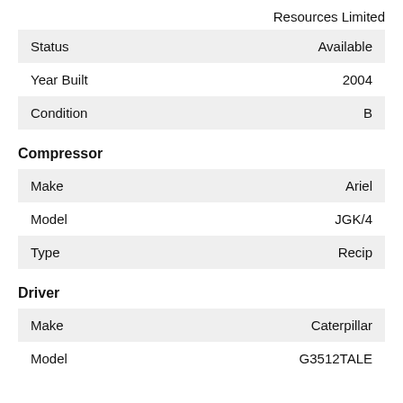Resources Limited
| Field | Value |
| --- | --- |
| Status | Available |
| Year Built | 2004 |
| Condition | B |
Compressor
| Field | Value |
| --- | --- |
| Make | Ariel |
| Model | JGK/4 |
| Type | Recip |
Driver
| Field | Value |
| --- | --- |
| Make | Caterpillar |
| Model | G3512TALE |